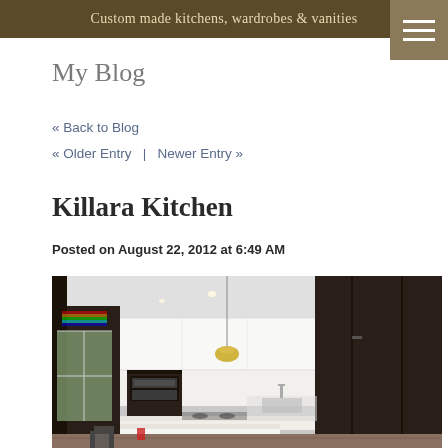Custom made kitchens, wardrobes & vanities
My Blog
« Back to Blog
« Older Entry  |  Newer Entry »
Killara Kitchen
Posted on August 22, 2012 at 6:49 AM
[Figure (photo): Modern kitchen with dark and white cabinetry, pendant lights, island bench, stainless steel appliances, and large windows]